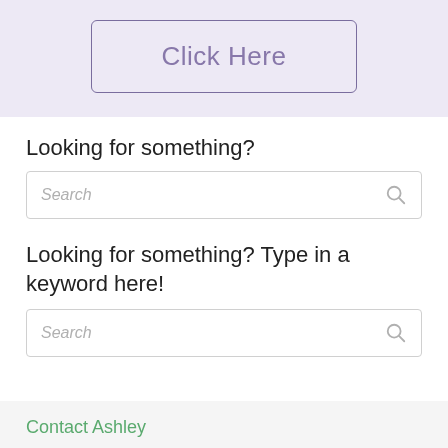[Figure (other): Purple/lavender background banner with a 'Click Here' button with rounded rectangle border]
Looking for something?
[Figure (other): Search input box with placeholder text 'Search' and a search icon on the right]
Looking for something? Type in a keyword here!
[Figure (other): Search input box with placeholder text 'Search' and a search icon on the right]
Contact Ashley